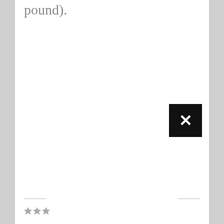pound).
[Figure (other): Broken image placeholder (black square with white X mark)]
★★★